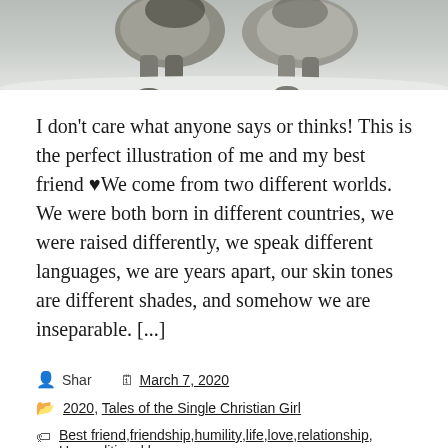[Figure (photo): Partial photo of two dogs/wolves (likely huskies) standing in snow, cropped to show their legs and lower bodies against a white snowy background.]
I don't care what anyone says or thinks! This is the perfect illustration of me and my best friend ♥We come from two different worlds. We were both born in different countries, we were raised differently, we speak different languages, we are years apart, our skin tones are different shades, and somehow we are inseparable. [...]
Shar   March 7, 2020
2020, Tales of the Single Christian Girl
Best friend, friendship, humility, life, love, relationship, Unconditional love